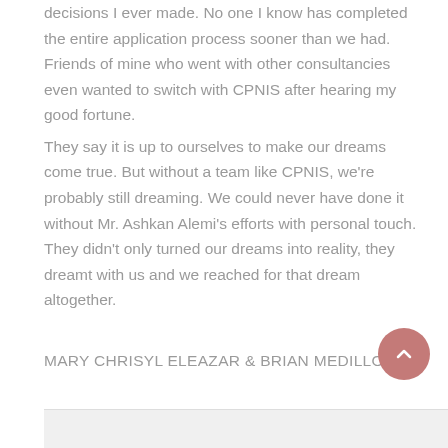decisions I ever made. No one I know has completed the entire application process sooner than we had. Friends of mine who went with other consultancies even wanted to switch with CPNIS after hearing my good fortune.
They say it is up to ourselves to make our dreams come true. But without a team like CPNIS, we're probably still dreaming. We could never have done it without Mr. Ashkan Alemi's efforts with personal touch. They didn't only turned our dreams into reality, they dreamt with us and we reached for that dream altogether.
MARY CHRISYL ELEAZAR &  BRIAN MEDILLO